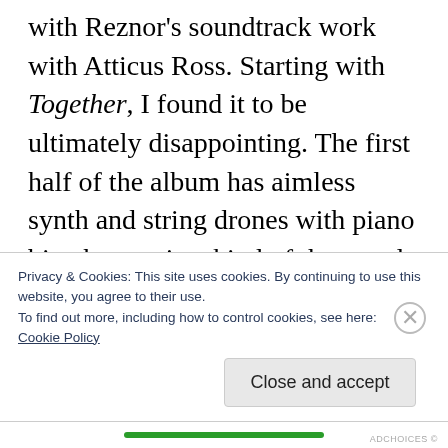with Reznor's soundtrack work with Atticus Ross. Starting with Together, I found it to be ultimately disappointing. The first half of the album has aimless synth and string drones with piano bits that are just kind of there and not really generating any interest. Things pick up a good bit on the second half with more interesting uses of the space and more intriguing synths. Reznor said that Together was meant for when you feel hopeful, but there's still an atmosphere of tension and
Privacy & Cookies: This site uses cookies. By continuing to use this website, you agree to their use.
To find out more, including how to control cookies, see here:
Cookie Policy
Close and accept